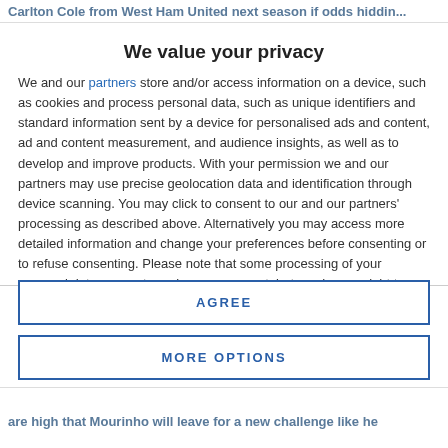Carlton Cole from West Ham United next season if odds hiddin...
We value your privacy
We and our partners store and/or access information on a device, such as cookies and process personal data, such as unique identifiers and standard information sent by a device for personalised ads and content, ad and content measurement, and audience insights, as well as to develop and improve products. With your permission we and our partners may use precise geolocation data and identification through device scanning. You may click to consent to our and our partners' processing as described above. Alternatively you may access more detailed information and change your preferences before consenting or to refuse consenting. Please note that some processing of your personal data may not require your consent, but you have a right to
AGREE
MORE OPTIONS
are high that Mourinho will leave for a new challenge like he